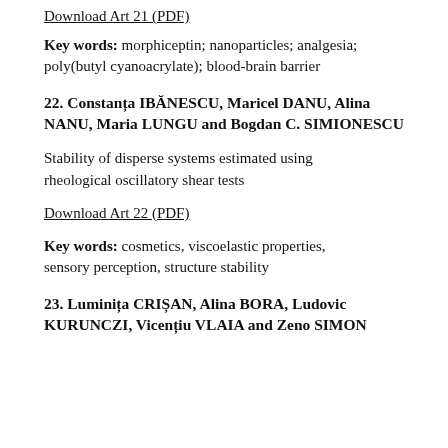Download Art 21 (PDF)
Key words: morphiceptin; nanoparticles; analgesia; poly(butyl cyanoacrylate); blood-brain barrier
22. Constanța IBĂNESCU, Maricel DANU, Alina NANU, Maria LUNGU and Bogdan C. SIMIONESCU
Stability of disperse systems estimated using rheological oscillatory shear tests
Download Art 22 (PDF)
Key words: cosmetics, viscoelastic properties, sensory perception, structure stability
23. Luminița CRIȘAN, Alina BORA, Ludovic KURUNCZI, Vicențiu VLAIA and Zeno SIMON